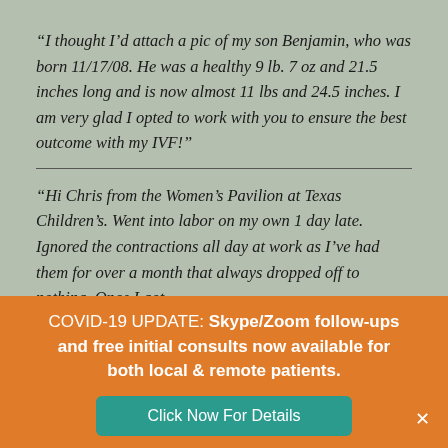“I thought I’d attach a pic of my son Benjamin, who was born 11/17/08. He was a healthy 9 lb. 7 oz and 21.5 inches long and is now almost 11 lbs and 24.5 inches. I am very glad I opted to work with you to ensure the best outcome with my IVF!”
“Hi Chris from the Women’s Pavilion at Texas Children’s. Went into labor on my own 1 day late. Ignored the contractions all day at work as I’ve had them for over a month that always dropped off to nothing. Once I got
COVID-19 UPDATE: Skype/Zoom follow-ups and free initial consults now available for both local & remote patients.
Click Now For Details